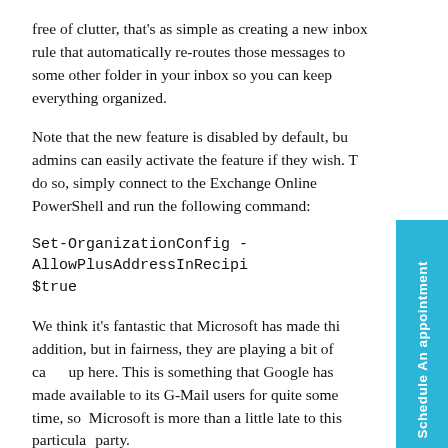free of clutter, that's as simple as creating a new inbox rule that automatically re-routes those messages to some other folder in your inbox so you can keep everything organized.
Note that the new feature is disabled by default, but admins can easily activate the feature if they wish. To do so, simply connect to the Exchange Online PowerShell and run the following command:
We think it's fantastic that Microsoft has made this addition, but in fairness, they are playing a bit of catch up here. This is something that Google has made available to its G-Mail users for quite some time, so Microsoft is more than a little late to this particular party.
Still, better late than never as the saying goes, and kudos to Microsoft for adding a high value feature that